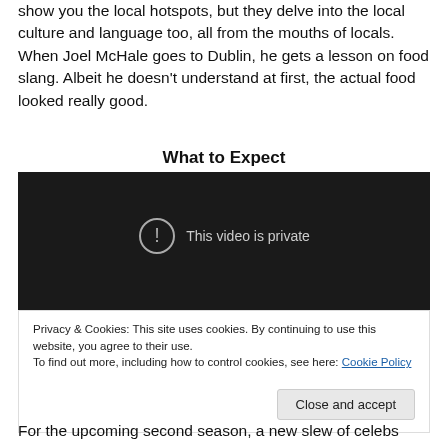show you the local hotspots, but they delve into the local culture and language too, all from the mouths of locals. When Joel McHale goes to Dublin, he gets a lesson on food slang. Albeit he doesn't understand at first, the actual food looked really good.
What to Expect
[Figure (screenshot): Dark video player showing 'This video is private' message with a warning/exclamation icon in a circle]
Privacy & Cookies: This site uses cookies. By continuing to use this website, you agree to their use.
To find out more, including how to control cookies, see here: Cookie Policy
For the upcoming second season, a new slew of celebs